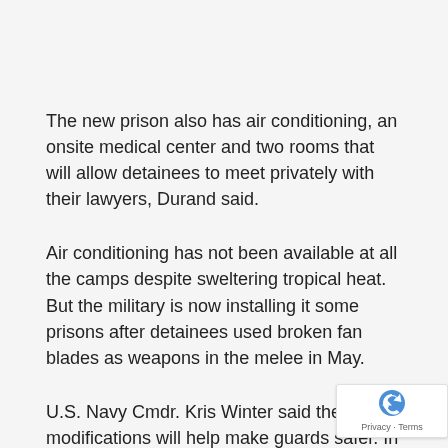The new prison also has air conditioning, an onsite medical center and two rooms that will allow detainees to meet privately with their lawyers, Durand said.
Air conditioning has not been available at all the camps despite sweltering tropical heat. But the military is now installing it some prisons after detainees used broken fan blades as weapons in the melee in May.
U.S. Navy Cmdr. Kris Winter said the modifications will help make guards safer. In the last year and a half, the military has recorded more than 430 incidents in which detainees have thrown “cocktails” of bodily excretions at guards, as well as 225 physical assaults.